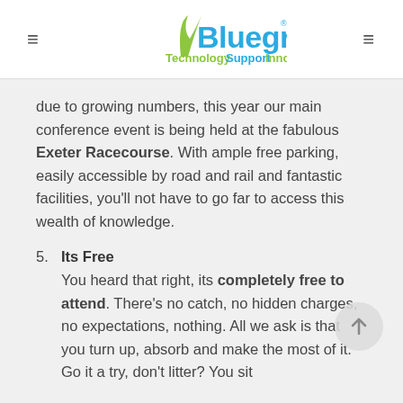Bluegrass Technology Support Innovation
due to growing numbers, this year our main conference event is being held at the fabulous Exeter Racecourse. With ample free parking, easily accessible by road and rail and fantastic facilities, you'll not have to go far to access this wealth of knowledge.
5. Its Free
You heard that right, its completely free to attend. There's no catch, no hidden charges, no expectations, nothing. All we ask is that you turn up, absorb and make the most of it. Go it a try, don't litter? You sit